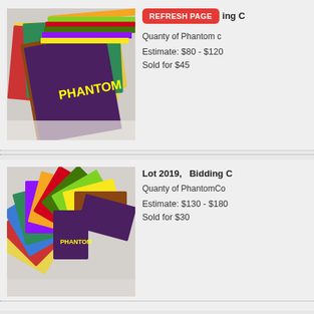[Figure (photo): Stack of Phantom comic books fanned out on a white surface, colorful covers visible]
REFRESH PAGE
ing C
Quanty of Phantom c
Estimate: $80 - $120
Sold for $45
[Figure (photo): Large quantity of Phantom comic books spread in a circular fan arrangement on white surface]
Lot 2019,   Bidding C
Quanty of PhantomCo
Estimate: $130 - $180
Sold for $30